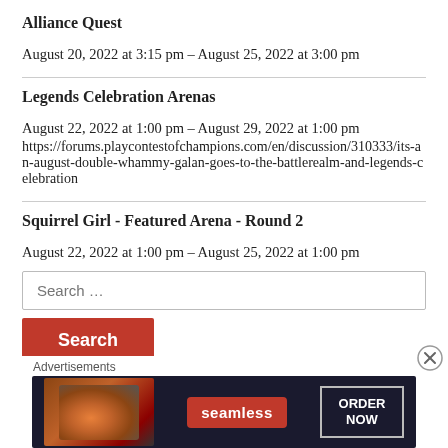Alliance Quest
August 20, 2022 at 3:15 pm – August 25, 2022 at 3:00 pm
Legends Celebration Arenas
August 22, 2022 at 1:00 pm – August 29, 2022 at 1:00 pm
https://forums.playcontestofchampions.com/en/discussion/310333/its-an-august-double-whammy-galan-goes-to-the-battlerealm-and-legends-celebration
Squirrel Girl - Featured Arena - Round 2
August 22, 2022 at 1:00 pm – August 25, 2022 at 1:00 pm
Search …
Search
Advertisements
[Figure (infographic): Seamless food delivery advertisement banner with pizza image on left, seamless logo in center, and ORDER NOW button on right, dark background]